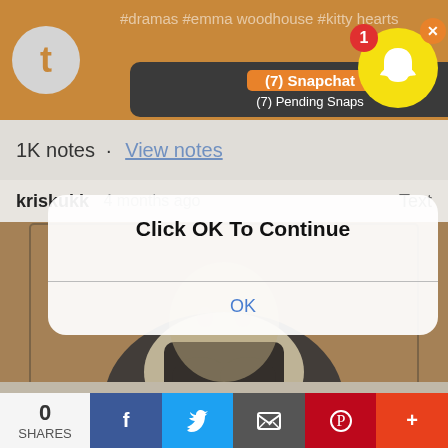[Figure (screenshot): Tumblr orange header bar with tumblr 't' icon on the left and hashtag text partially visible]
[Figure (screenshot): Snapchat notification popup showing '(7) Snapchat' title and '(7) Pending Snaps' subtitle, with Snapchat ghost icon and badge '1' in the top right, and orange X close button]
1K notes · View notes
kriskukko · 4 months ago   Text
[Figure (illustration): Digital illustration of a figure in dark vest holding something with both hands, brown/tan background]
[Figure (screenshot): iOS-style dialog overlay with 'Click OK To Continue' title and 'OK' button]
0 SHARES
[Figure (screenshot): Social share bar with Facebook, Twitter, Email, Pinterest, and More (+) buttons]